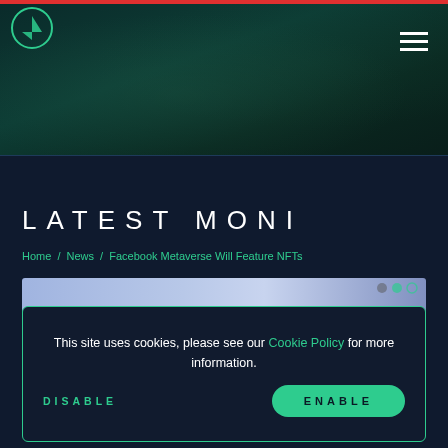[Figure (screenshot): Website hero section with dark teal gradient background, red top bar, circular logo top left, hamburger menu icon top right]
LATEST MONI
Home / News / Facebook Metaverse Will Feature NFTs
[Figure (screenshot): Article thumbnail strip with light blue/purple gradient]
This site uses cookies, please see our Cookie Policy for more information.
DISABLE   ENABLE